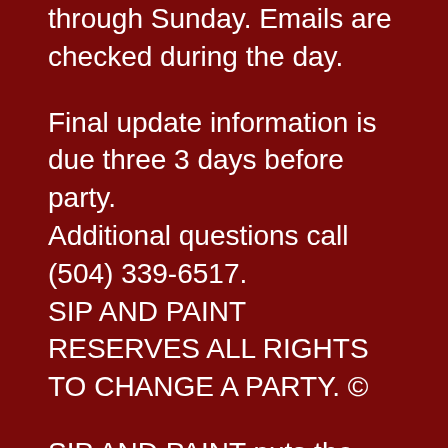through Sunday. Emails are checked during the day.
Final update information is due three 3 days before party.
Additional questions call (504) 339-6517.
SIP AND PAINT RESERVES ALL RIGHTS TO CHANGE A PARTY. ©
SIP AND PAINT puts the FUN IN FUND RAISING
A fundraiser should be more than just